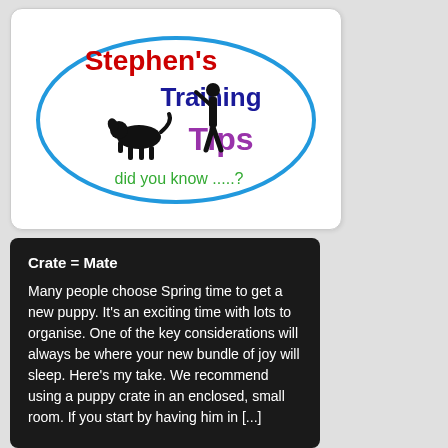[Figure (logo): Stephen's Training Tips logo — oval with blue border, silhouettes of a person and dog, text 'Stephen's' in red, 'Training' in dark blue, 'Tips' in purple, 'did you know .....?' in green]
Crate = Mate
Many people choose Spring time to get a new puppy. It's an exciting time with lots to organise. One of the key considerations will always be where your new bundle of joy will sleep. Here's my take. We recommend using a puppy crate in an enclosed, small room. If you start by having him in [...]
[Figure (photo): Photo strip showing a puppy crate with metal bars]
Leave a Reply
Your Comment
Name
(required)
E-mail
(required)